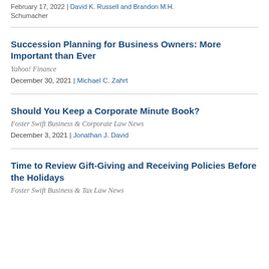February 17, 2022 | David K. Russell and Brandon M.H. Schumacher
Succession Planning for Business Owners: More Important than Ever
Yahoo! Finance
December 30, 2021 | Michael C. Zahrt
Should You Keep a Corporate Minute Book?
Foster Swift Business & Corporate Law News
December 3, 2021 | Jonathan J. David
Time to Review Gift-Giving and Receiving Policies Before the Holidays
Foster Swift Business & Tax Law News